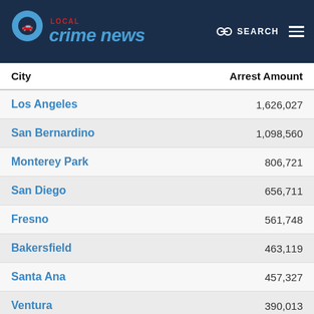Local Crime News — SEARCH
| City | Arrest Amount |
| --- | --- |
| Los Angeles | 1,626,027 |
| San Bernardino | 1,098,560 |
| Monterey Park | 806,721 |
| San Diego | 656,711 |
| Fresno | 561,748 |
| Bakersfield | 463,119 |
| Santa Ana | 457,327 |
| Ventura | 390,013 |
| Sacramento | 383,791 |
| Orange | 371,119 |